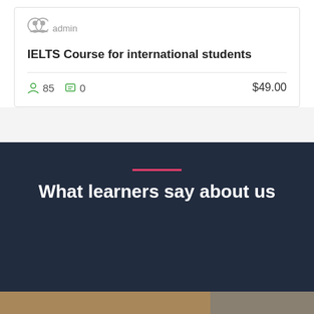admin
IELTS Course for international students
85   0   $49.00
What learners say about us
[Figure (photo): Person with short brown hair, partial head visible at bottom of page, green circular scroll-to-top button in bottom right]